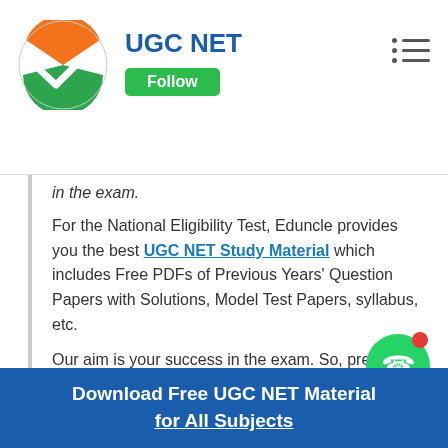[Figure (logo): UGC NET logo with orange and green circular checkmark icon]
UGC NET
in the exam.
For the National Eligibility Test, Eduncle provides you the best UGC NET Study Material which includes Free PDFs of Previous Years' Question Papers with Solutions, Model Test Papers, syllabus, etc.
Our aim is your success in the exam. So, prepare with Eduncle and get closer to your dream of becoming a Lecturer or JRF. You can get all the UGC NET Education study material from the given table below: -
[Figure (logo): WhatsApp icon green circle with phone symbol and red notification dot]
Download Free UGC NET Material for All Subjects